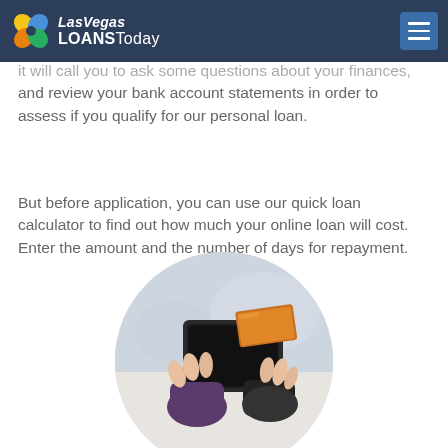Las Vegas LOANSToday
questions about your finances, and review your bank account statements in order to assess if you qualify for our personal loan.
But before application, you can use our quick loan calculator to find out how much your online loan will cost. Enter the amount and the number of days for repayment.
[Figure (photo): Circular cropped photo of a person holding an open black wallet with a credit card being pulled out, against a blurred light background.]